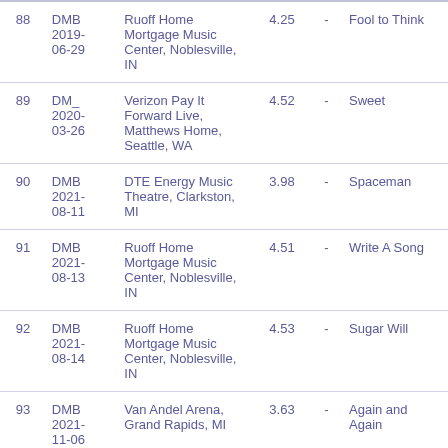| # | Show | Venue | Rating |  | Song |
| --- | --- | --- | --- | --- | --- |
| 88 | DMB 2019-06-29 | Ruoff Home Mortgage Music Center, Noblesville, IN | 4.25 | - | Fool to Think |
| 89 | DM_ 2020-03-26 | Verizon Pay It Forward Live, Matthews Home, Seattle, WA | 4.52 | - | Sweet |
| 90 | DMB 2021-08-11 | DTE Energy Music Theatre, Clarkston, MI | 3.98 | - | Spaceman |
| 91 | DMB 2021-08-13 | Ruoff Home Mortgage Music Center, Noblesville, IN | 4.51 | - | Write A Song |
| 92 | DMB 2021-08-14 | Ruoff Home Mortgage Music Center, Noblesville, IN | 4.53 | - | Sugar Will |
| 93 | DMB 2021-11-06 | Van Andel Arena, Grand Rapids, MI | 3.63 | - | Again and Again |
| 94 | DMB 2022-06-19 | Blossom Music Center, Cuyahoga Falls, OH | 4.32 | - | Stay |